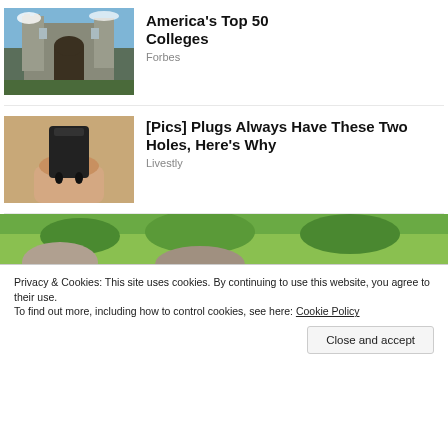[Figure (photo): Gothic stone university building with arched entrance and tower, blue sky]
America's Top 50 Colleges
Forbes
[Figure (photo): Close-up of a black electrical plug held by a hand against sandy background]
[Pics] Plugs Always Have These Two Holes, Here's Why
Livestly
[Figure (photo): Wide landscape photo showing green field and bushes with objects in foreground]
Privacy & Cookies: This site uses cookies. By continuing to use this website, you agree to their use.
To find out more, including how to control cookies, see here: Cookie Policy
Close and accept